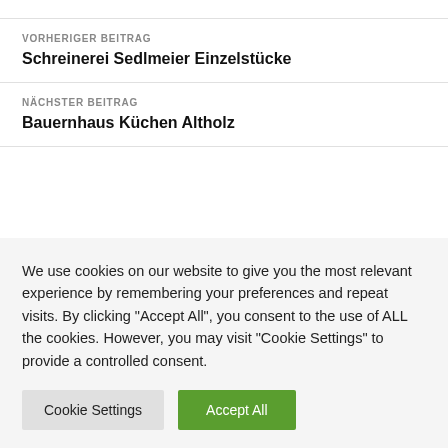VORHERIGER BEITRAG
Schreinerei Sedlmeier Einzelstücke
NÄCHSTER BEITRAG
Bauernhaus Küchen Altholz
We use cookies on our website to give you the most relevant experience by remembering your preferences and repeat visits. By clicking "Accept All", you consent to the use of ALL the cookies. However, you may visit "Cookie Settings" to provide a controlled consent.